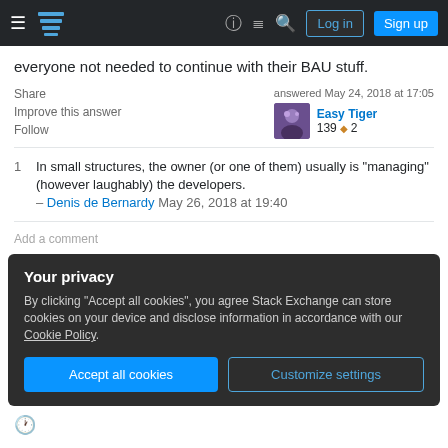Stack Exchange navigation bar with Log in and Sign up buttons
everyone not needed to continue with their BAU stuff.
Share   Improve this answer   Follow   answered May 24, 2018 at 17:05   Easy Tiger   139 ◆ 2
1  In small structures, the owner (or one of them) usually is "managing" (however laughably) the developers. – Denis de Bernardy May 26, 2018 at 19:40
Add a comment
Your privacy
By clicking "Accept all cookies", you agree Stack Exchange can store cookies on your device and disclose information in accordance with our Cookie Policy.
Accept all cookies   Customize settings